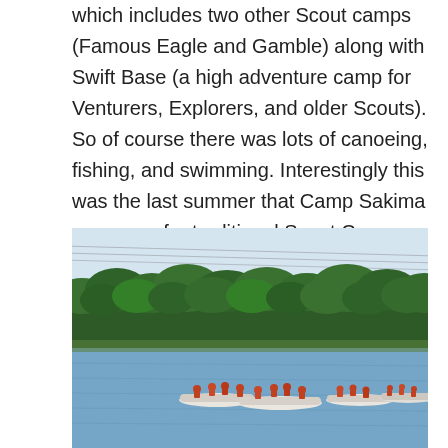which includes two other Scout camps (Famous Eagle and Gamble) along with Swift Base (a high adventure camp for Venturers, Explorers, and older Scouts). So of course there was lots of canoeing, fishing, and swimming. Interestingly this was the last summer that Camp Sakima was open for traditional Scout Camp. After that, it was dedicated to National Youth Leadership Training (NYLT).
[Figure (photo): Photograph of a lake scene with a group of people in canoes on calm water, with a dense treeline of green trees in the background and a light blue sky above. Power lines cross the top of the image.]